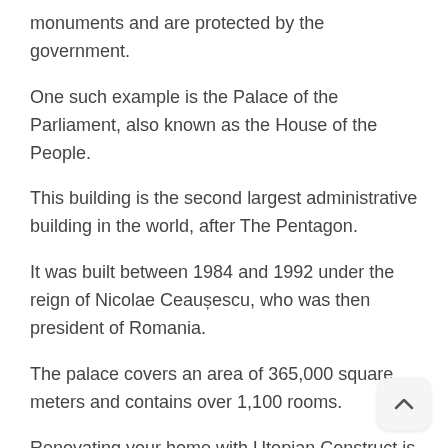monuments and are protected by the government.
One such example is the Palace of the Parliament, also known as the House of the People.
This building is the second largest administrative building in the world, after The Pentagon.
It was built between 1984 and 1992 under the reign of Nicolae Ceaușescu, who was then president of Romania.
The palace covers an area of 365,000 square meters and contains over 1,100 rooms.
Renovating your home with Utopian Construct is more affordable than you might think.
For many people, the idea of renovating an old home is daunting.
However, with the help of Utopian Constructs, this can be a